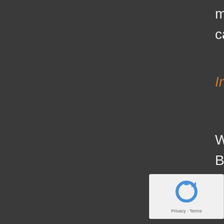misrepresentation cannot be ex
Information ab
We process By using our data provide
Viruses, hacki
You must no worms, logic harmful. You server on wh connected to atta
By the Compute